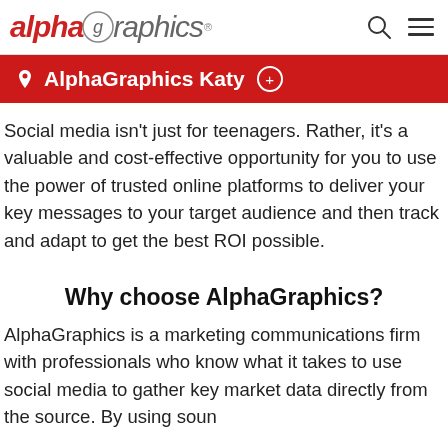alphagraphics
AlphaGraphics Katy
Social media isn't just for teenagers. Rather, it's a valuable and cost-effective opportunity for you to use the power of trusted online platforms to deliver your key messages to your target audience and then track and adapt to get the best ROI possible.
Why choose AlphaGraphics?
AlphaGraphics is a marketing communications firm with professionals who know what it takes to use social media to gather key market data directly from the source. By using soun